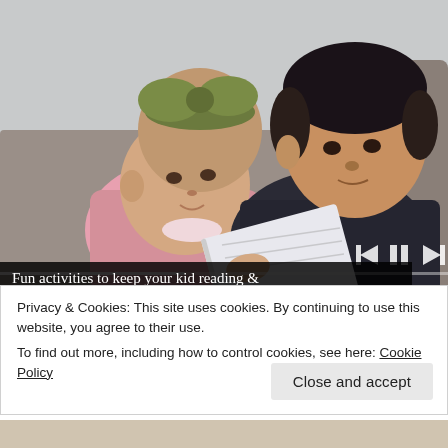[Figure (photo): A young boy and a baby girl sitting together on a couch, reading a book. The baby is wearing a green bow headband and a pink outfit. The boy has a dark shirt and short dark hair. Video playback controls are visible at the bottom right of the image.]
Fun activities to keep your kid reading &
Privacy & Cookies: This site uses cookies. By continuing to use this website, you agree to their use.
To find out more, including how to control cookies, see here: Cookie Policy
Close and accept